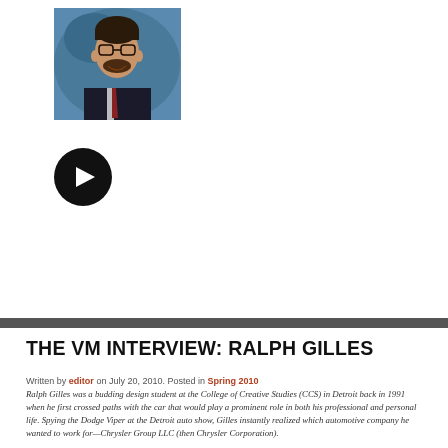[Figure (photo): Headshot of a man wearing glasses, dark jacket, and red tie, smiling at camera]
[Figure (other): Black circular button with white right-pointing arrow]
THE VM INTERVIEW: RALPH GILLES
Written by editor on July 20, 2010. Posted in Spring 2010
Ralph Gilles was a budding design student at the College of Creative Studies (CCS) in Detroit back in 1991 when he first crossed paths with the car that would play a prominent role in both his professional and personal life. Spying the Dodge Viper at the Detroit auto show, Gilles instantly realized which automotive company he wanted to work for—Chrysler Group LLC (then Chrysler Corporation).
[Figure (photo): Interior car photo showing sun visor area]
The native of Canada joined the Pentastar gang in 1992,